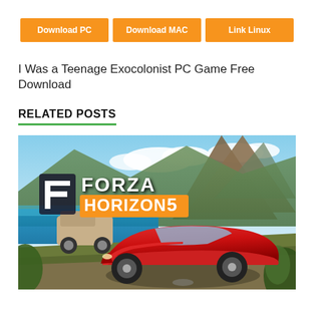Download PC
Download MAC
Link Linux
I Was a Teenage Exocolonist PC Game Free Download
RELATED POSTS
[Figure (photo): Forza Horizon 5 game cover art showing a red sports car (Mercedes-AMG) in the foreground, a 4x4 truck in the background, tropical landscape with mountains, sea, and the Forza Horizon 5 logo with the F icon on the left.]